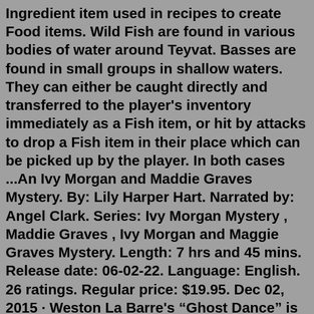Ingredient item used in recipes to create Food items. Wild Fish are found in various bodies of water around Teyvat. Basses are found in small groups in shallow waters. They can either be caught directly and transferred to the player's inventory immediately as a Fish item, or hit by attacks to drop a Fish item in their place which can be picked up by the player. In both cases ...An Ivy Morgan and Maddie Graves Mystery. By: Lily Harper Hart. Narrated by: Angel Clark. Series: Ivy Morgan Mystery , Maddie Graves , Ivy Morgan and Maggie Graves Mystery. Length: 7 hrs and 45 mins. Release date: 06-02-22. Language: English. 26 ratings. Regular price: $19.95. Dec 02, 2015 · Weston La Barre's “Ghost Dance” is composed of three components. 1. a description of crisis cults lead by shamans and of which the 19th century native American ghost cult is one well-known example. Here the writing is based on the solid field work of the author and other academics. 2. a psychological model of religious behaviour. Dec 11, 2021 · Updated: 11 Dec 2021 04:26. Snells in Pathfinder: Wrath of the